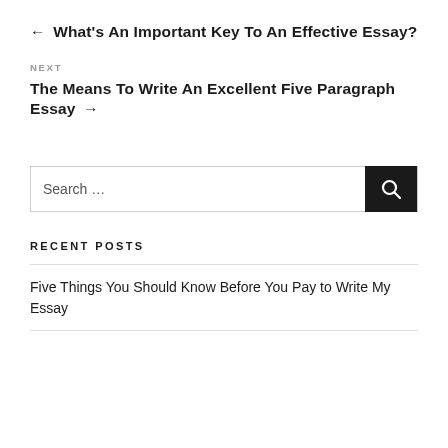← What's An Important Key To An Effective Essay?
NEXT
The Means To Write An Excellent Five Paragraph Essay →
Search …
RECENT POSTS
Five Things You Should Know Before You Pay to Write My Essay